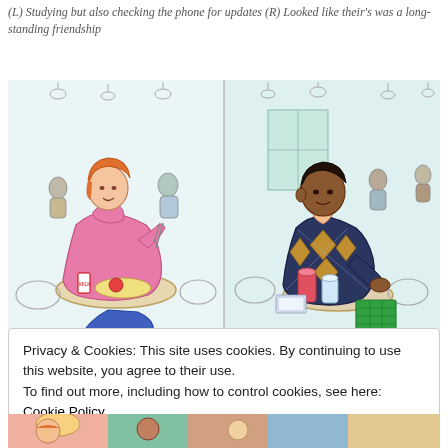(L) Studying but also checking the phone for updates (R) Looked like their's was a long-standing friendship
[Figure (illustration): Two watercolor illustrations side by side: Left shows a woman in a bright pink jacket sitting at a cafe table eating, with cafe background. Right shows a man in a blue and gold argyle sweater sitting at a cafe table, holding a green item, with drinks on the table and cafe background.]
(L) Someone other than me who owns a lucid pink jacket in Seoul (R)
Privacy & Cookies: This site uses cookies. By continuing to use this website, you agree to their use.
To find out more, including how to control cookies, see here: Cookie Policy
Close and accept